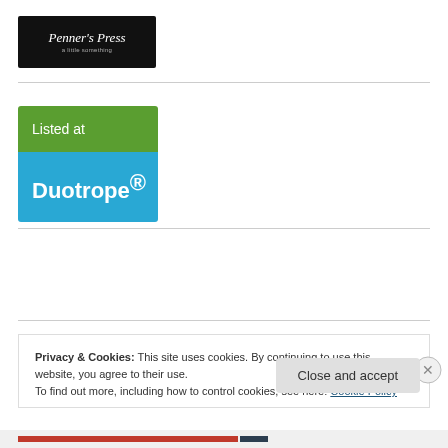[Figure (logo): Penner's Press logo — white handwritten text on black background]
[Figure (logo): Listed at Duotrope badge — green top half with 'Listed at', blue bottom half with 'Duotrope®']
Privacy & Cookies: This site uses cookies. By continuing to use this website, you agree to their use.
To find out more, including how to control cookies, see here: Cookie Policy
Close and accept